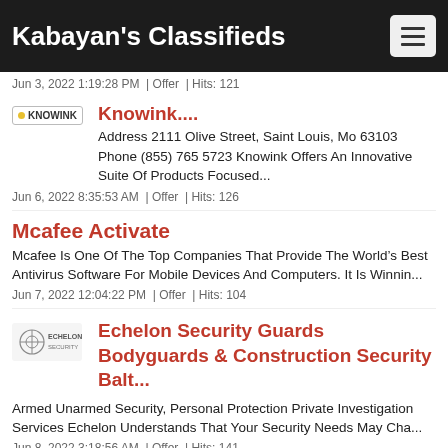Kabayan's Classifieds
Jun 3, 2022 1:19:28 PM  |  Offer  |  Hits: 121
Knowink....
Address 2111 Olive Street, Saint Louis, Mo 63103 Phone (855) 765 5723 Knowink Offers An Innovative Suite Of Products Focused...
Jun 6, 2022 8:35:53 AM  |  Offer  |  Hits: 126
Mcafee Activate
Mcafee Is One Of The Top Companies That Provide The World’s Best Antivirus Software For Mobile Devices And Computers. It Is Winnin...
Jun 7, 2022 12:04:22 PM  |  Offer  |  Hits: 104
Echelon Security Guards Bodyguards & Construction Security Balt...
Armed Unarmed Security, Personal Protection Private Investigation Services Echelon Understands That Your Security Needs May Cha...
Jun 8, 2022 3:18:56 AM  |  Offer  |  Hits: 141